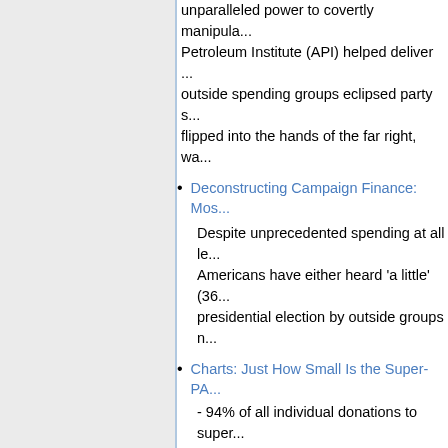unparalleled power to covertly manipula... Petroleum Institute (API) helped deliver... outside spending groups eclipsed party s... flipped into the hands of the far right, wa...
Deconstructing Campaign Finance: Mos...
Despite unprecedented spending at all le... Americans have either heard 'a little' (36... presidential election by outside groups n...
Charts: Just How Small Is the Super-PA...
- 94% of all individual donations to super...
- 57% of all individual super-PAC donatio...
- The top five dark-money nonprofit grou...
- Five big outside-spending groups have...
International Governance
Why No Vetoed Resolutions on Civilian P...
Governments do not have principles, on... patrons. ... Since (major United Nations... backing the Palestinians, let alone Hama...